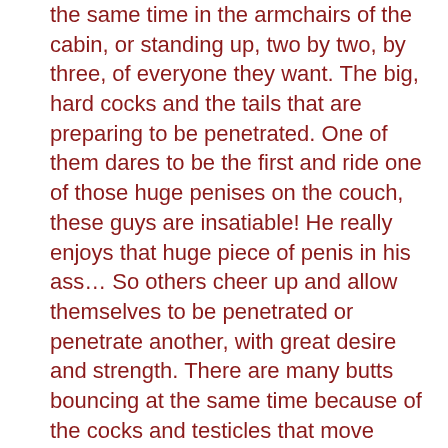the same time in the armchairs of the cabin, or standing up, two by two, by three, of everyone they want. The big, hard cocks and the tails that are preparing to be penetrated. One of them dares to be the first and ride one of those huge penises on the couch, these guys are insatiable! He really enjoys that huge piece of penis in his ass… So others cheer up and allow themselves to be penetrated or penetrate another, with great desire and strength. There are many butts bouncing at the same time because of the cocks and testicles that move behind them. The moans intersect in a feast of pleasure, an orgiastic party that engulfs them. One of them wants to be active and passive at the same time, so he puts himself in the middle of two others and enjoys giving and receiving… Phew! After a lot of sex and pumping, the last ones to join the party are the ones who kneel down to receive the cum shot on their faces and bodies… The semen of five guys falling on them… WOW! This is indeed a fun adventure and, also, unforgettable.
En el último episodio de esta serie, los chicos latinos ardientes, quieren